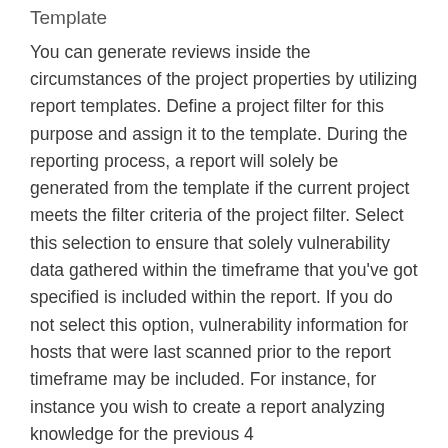Template
You can generate reviews inside the circumstances of the project properties by utilizing report templates. Define a project filter for this purpose and assign it to the template. During the reporting process, a report will solely be generated from the template if the current project meets the filter criteria of the project filter. Select this selection to ensure that solely vulnerability data gathered within the timeframe that you've got specified is included within the report. If you do not select this option, vulnerability information for hosts that were last scanned prior to the report timeframe may be included. For instance, for instance you wish to create a report analyzing knowledge for the previous 4